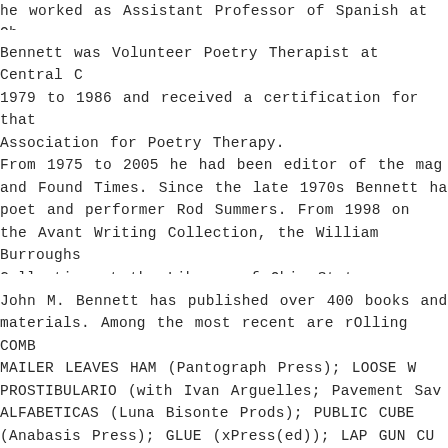he worked as Assistant Professor of Spanish at Oh
Bennett was Volunteer Poetry Therapist at Central C 1979 to 1986 and received a certification for that Association for Poetry Therapy. From 1975 to 2005 he had been editor of the mag and Found Times. Since the late 1970s Bennett has poet and performer Rod Summers. From 1998 on the Avant Writing Collection, the William Burroughs Collection at the Library of Ohio State University. He is still active as visual poet, author of experiment
John M. Bennett has published over 400 books and materials. Among the most recent are rOlling COMB MAILER LEAVES HAM (Pantograph Press); LOOSE W PROSTIBULARIO (with Ivan Arguelles; Pavement Sav ALFABETICAS (Luna Bisonte Prods); PUBLIC CUBE (Anabasis Press); GLUE (xPress(ed)); LAP GUN CU Bisonte Prods); INSTRUCTION BOOK (Luna Bisonte